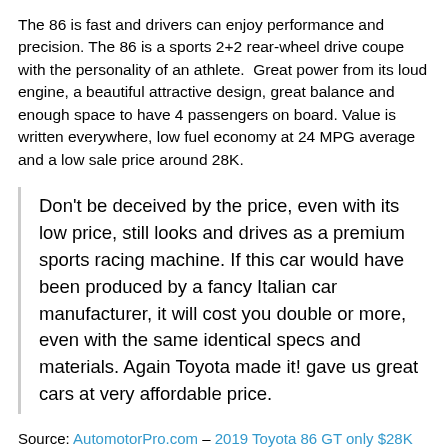The 86 is fast and drivers can enjoy performance and precision. The 86 is a sports 2+2 rear-wheel drive coupe with the personality of an athlete.  Great power from its loud engine, a beautiful attractive design, great balance and enough space to have 4 passengers on board. Value is written everywhere, low fuel economy at 24 MPG average and a low sale price around 28K.
Don't be deceived by the price, even with its low price, still looks and drives as a premium sports racing machine. If this car would have been produced by a fancy Italian car manufacturer, it will cost you double or more, even with the same identical specs and materials. Again Toyota made it! gave us great cars at very affordable price.
Source: AutomotorPro.com – 2019 Toyota 86 GT only $28K for a Great Sports Car